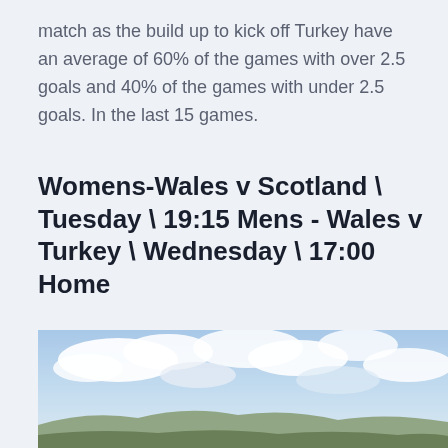match as the build up to kick off Turkey have an average of 60% of the games with over 2.5 goals and 40% of the games with under 2.5 goals. In the last 15 games.
Womens-Wales v Scotland \ Tuesday \ 19:15 Mens - Wales v Turkey \ Wednesday \ 17:00 Home
[Figure (photo): Outdoor landscape photo showing a bright cloudy sky with patches of blue and white clouds, with distant hills or terrain visible at the bottom of the image.]